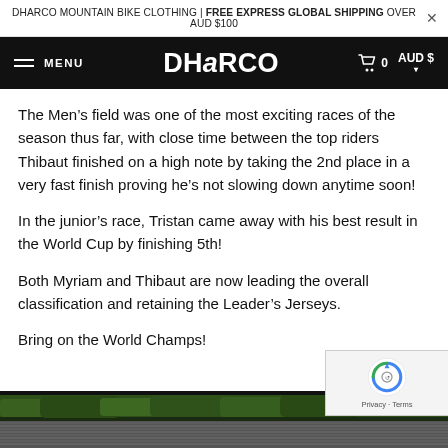DHARCO MOUNTAIN BIKE CLOTHING | FREE EXPRESS GLOBAL SHIPPING OVER AUD $100
MENU | DHARCO | 0 | AUD $
The Men’s field was one of the most exciting races of the season thus far, with close time between the top riders Thibaut finished on a high note by taking the 2nd place in a very fast finish proving he’s not slowing down anytime soon!
In the junior’s race, Tristan came away with his best result in the World Cup by finishing 5th!
Both Myriam and Thibaut are now leading the overall classification and retaining the Leader’s Jerseys.
Bring on the World Champs!
[Figure (photo): Outdoor scene with trees and a corrugated metal roof structure visible at the bottom of the page.]